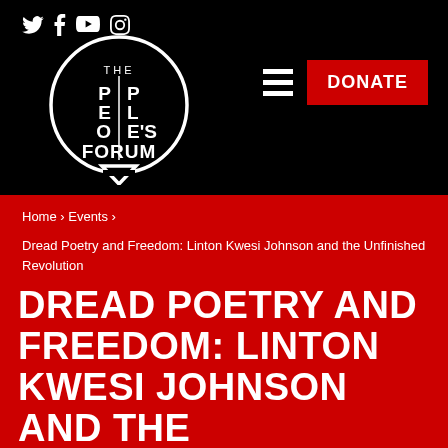[Figure (logo): The People's Forum circular logo in white on black background, speech bubble style]
Home › Events ›
Dread Poetry and Freedom: Linton Kwesi Johnson and the Unfinished Revolution
DREAD POETRY AND FREEDOM: LINTON KWESI JOHNSON AND THE UNFINISHED REVOLUTION